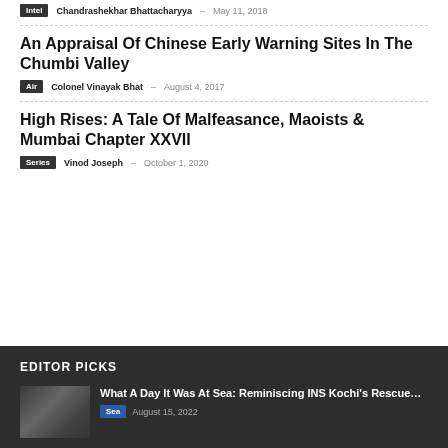An Appraisal Of Chinese Early Warning Sites In The Chumbi Valley
Air · Colonel Vinayak Bhat · August 4, 2017
High Rises: A Tale Of Malfeasance, Maoists & Mumbai Chapter XXVII
Series · Vinod Joseph · October 1, 2020
EDITOR PICKS
What A Day It Was At Sea: Reminiscing INS Kochi's Rescue…
Sea · August 15, 2022